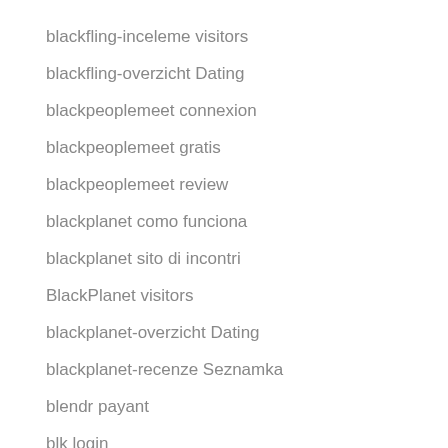blackfling-inceleme visitors
blackfling-overzicht Dating
blackpeoplemeet connexion
blackpeoplemeet gratis
blackpeoplemeet review
blackplanet como funciona
blackplanet sito di incontri
BlackPlanet visitors
blackplanet-overzicht Dating
blackplanet-recenze Seznamka
blendr payant
blk login
BLK visitors
blk was kostet
blk-overzicht MOBIELE SITE